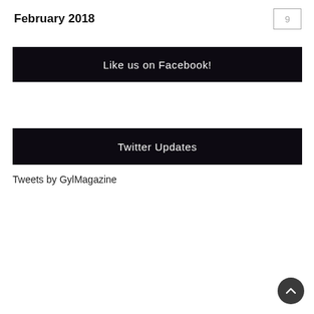February 2018
9
Like us on Facebook!
Twitter Updates
Tweets by GylMagazine